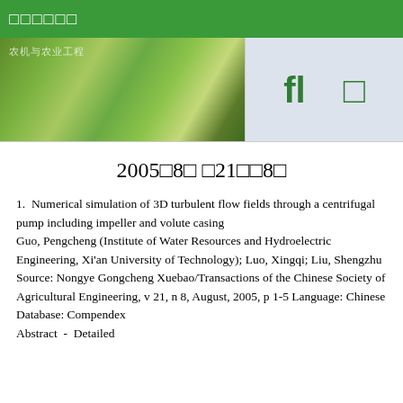□□□□□□
[Figure (screenshot): Green agricultural/plant themed banner image with UI icons (search and another icon) on the right side on a light blue-grey background]
2005□8□ □21□□8□
1.  Numerical simulation of 3D turbulent flow fields through a centrifugal pump including impeller and volute casing
Guo, Pengcheng (Institute of Water Resources and Hydroelectric Engineering, Xi'an University of Technology); Luo, Xingqi; Liu, Shengzhu Source: Nongye Gongcheng Xuebao/Transactions of the Chinese Society of Agricultural Engineering, v 21, n 8, August, 2005, p 1-5 Language: Chinese
Database: Compendex
Abstract  -  Detailed